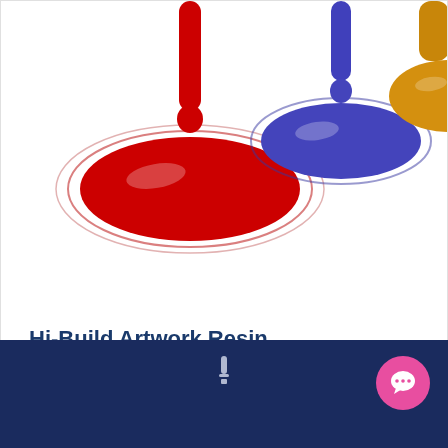[Figure (photo): Product photo showing three dripping paint/resin blobs — red on the left, purple/blue in the center, and yellow/gold on the right — on a white background.]
Hi-Build Artwork Resin
Hi-Build Artwork Resin is a high viscosity, two pa..
£24.60
Including VAT